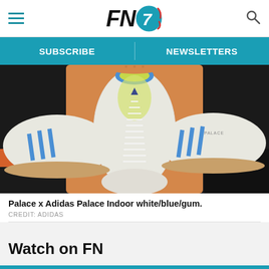FN7 — SUBSCRIBE | NEWSLETTERS
[Figure (photo): Three white/blue/gum Palace x Adidas Palace Indoor sneakers arranged top-down view showing the three-stripe design and outsole]
Palace x Adidas Palace Indoor white/blue/gum.
CREDIT: ADIDAS
Watch on FN